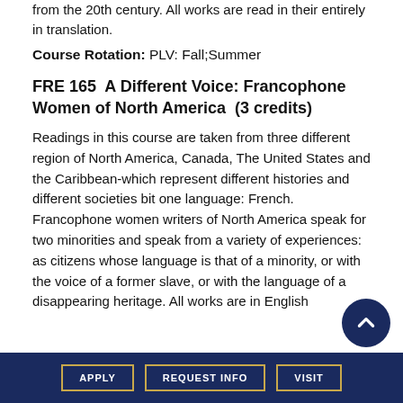from the 20th century. All works are read in their entirely in translation.
Course Rotation: PLV: Fall;Summer
FRE 165  A Different Voice: Francophone Women of North America  (3 credits)
Readings in this course are taken from three different region of North America, Canada, The United States and the Caribbean-which represent different histories and different societies bit one language: French. Francophone women writers of North America speak for two minorities and speak from a variety of experiences: as citizens whose language is that of a minority, or with the voice of a former slave, or with the language of a disappearing heritage. All works are in English
APPLY   REQUEST INFO   VISIT